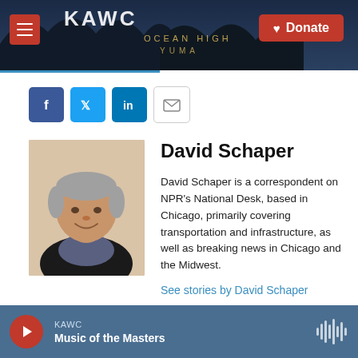KAWC | Donate
[Figure (screenshot): KAWC radio station header with logo, hamburger menu, and red Donate button on a dark blue background with a nighttime photo of the station sign]
Social media share icons: Facebook, Twitter, LinkedIn, Email
David Schaper
[Figure (photo): Headshot of David Schaper, a middle-aged man with grey hair wearing a black jacket]
David Schaper is a correspondent on NPR's National Desk, based in Chicago, primarily covering transportation and infrastructure, as well as breaking news in Chicago and the Midwest.
See stories by David Schaper
KAWC — Music of the Masters